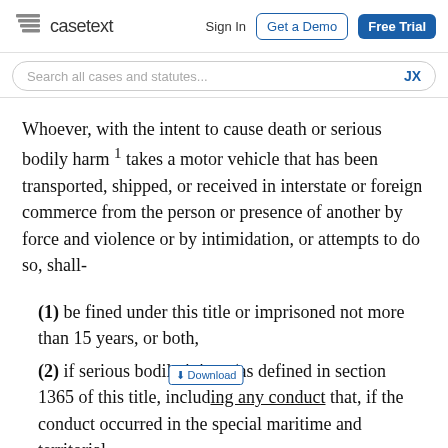casetext | Sign In | Get a Demo | Free Trial
Search all cases and statutes... JX
Whoever, with the intent to cause death or serious bodily harm ¹ takes a motor vehicle that has been transported, shipped, or received in interstate or foreign commerce from the person or presence of another by force and violence or by intimidation, or attempts to do so, shall-
(1) be fined under this title or imprisoned not more than 15 years, or both,
(2) if serious bodily injury (as defined in section 1365 of this title, including any conduct that, if the conduct occurred in the special maritime and territorial